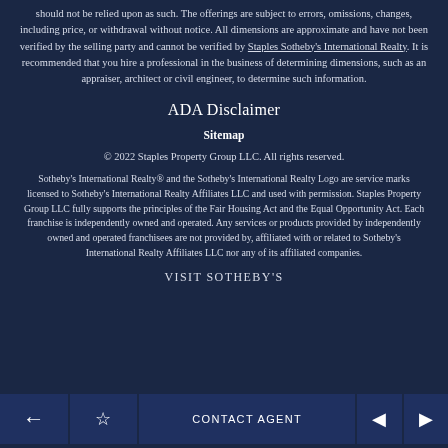should not be relied upon as such. The offerings are subject to errors, omissions, changes, including price, or withdrawal without notice. All dimensions are approximate and have not been verified by the selling party and cannot be verified by Staples Sotheby's International Realty. It is recommended that you hire a professional in the business of determining dimensions, such as an appraiser, architect or civil engineer, to determine such information.
ADA Disclaimer
Sitemap
© 2022 Staples Property Group LLC. All rights reserved.
Sotheby's International Realty® and the Sotheby's International Realty Logo are service marks licensed to Sotheby's International Realty Affiliates LLC and used with permission. Staples Property Group LLC fully supports the principles of the Fair Housing Act and the Equal Opportunity Act. Each franchise is independently owned and operated. Any services or products provided by independently owned and operated franchisees are not provided by, affiliated with or related to Sotheby's International Realty Affiliates LLC nor any of its affiliated companies.
VISIT SOTHEBY'S
CONTACT AGENT